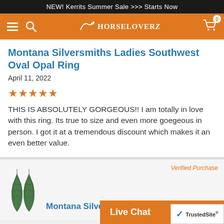NEW! Kerrits Summer Sale >>> Starts Now
[Figure (logo): HorseLoverZ orange navigation bar with hamburger menu, search icon, horse logo, and cart icon with 0 badge]
Montana Silversmiths Ladies Southwest Oval Opal Ring
April 11, 2022
[Figure (infographic): 5 orange filled star rating icons]
THIS IS ABSOLUTELY GORGEOUS!! I am totally in love with this ring. Its true to size and even more goegeous in person. I got it at a tremendous discount which makes it an even better value.
Verified Purchase
[Figure (photo): Product image of Montana Silversmiths green feather drop earrings on white background]
Montana Silversmit
Live Chat
[Figure (logo): TrustedSite badge with blue checkmark]